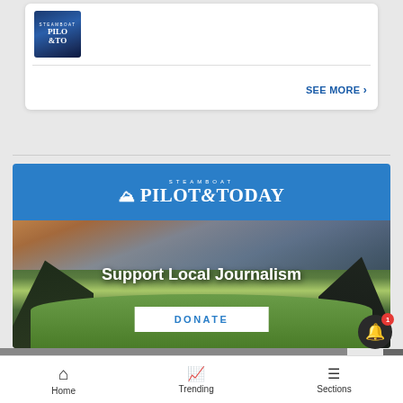[Figure (screenshot): Screenshot of Steamboat Pilot & Today website showing a card with a newspaper thumbnail, SEE MORE link, a Support Local Journalism donation banner with Pilot & Today logo, an ad for Delectables cat treats on Amazon, a notification bell with badge, and a bottom navigation bar with Home, Trending, and Sections.]
SEE MORE ›
STEAMBOAT PILOT&TODAY
Support Local Journalism
DONATE
[Figure (photo): Mountain landscape with green valley, trees, and colorful sky, used as background for the Support Local Journalism banner.]
[Figure (photo): Ad banner: Treat your cat the best with Delectables cat treats, available at amazon]
Home   Trending   Sections